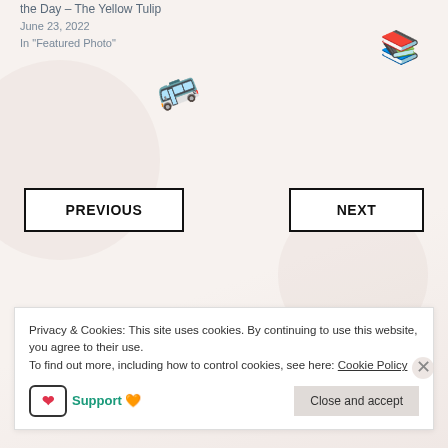the Day – The Yellow Tulip
June 23, 2022
In "Featured Photo"
[Figure (illustration): School bus emoji rotated at an angle]
[Figure (illustration): Stack of books emoji (green and red)]
PREVIOUS
NEXT
Privacy & Cookies: This site uses cookies. By continuing to use this website, you agree to their use.
To find out more, including how to control cookies, see here: Cookie Policy
Support 🧡
Close and accept